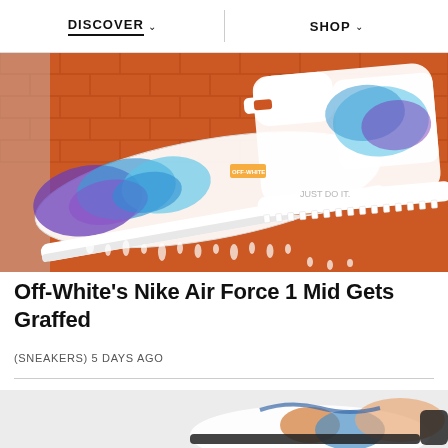DISCOVER   SHOP
[Figure (photo): Custom graffiti-painted Off-White x Nike Air Force 1 Mid and Air Max sneakers displayed on orange brick background, featuring blue and purple graffiti artwork]
Off-White's Nike Air Force 1 Mid Gets Graffed
(SNEAKERS) 5 DAYS AGO
[Figure (photo): Partial view of a second sneaker article image, showing colorful sneakers with orange, blue tones on light grey background]